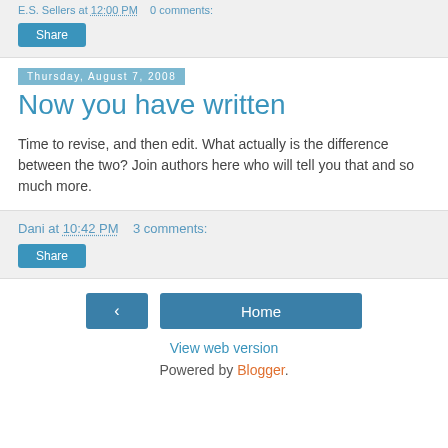E.S. Sellers at 12:00 PM   0 comments:
Share
Thursday, August 7, 2008
Now you have written
Time to revise, and then edit. What actually is the difference between the two? Join authors here who will tell you that and so much more.
Dani at 10:42 PM   3 comments:
Share
‹
Home
View web version
Powered by Blogger.